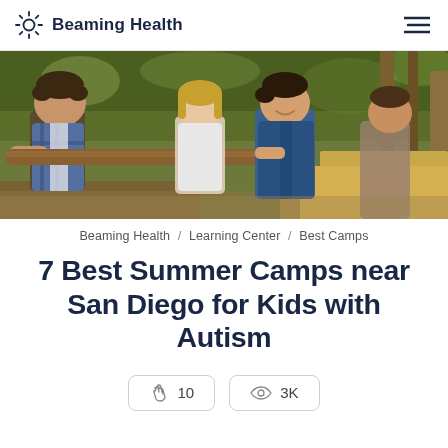Beaming Health
[Figure (photo): Children carrying a large stick or log together outdoors in a forest/nature setting. Multiple kids of different ethnicities visible, smiling and working together.]
Beaming Health / Learning Center / Best Camps
7 Best Summer Camps near San Diego for Kids with Autism
10   3K